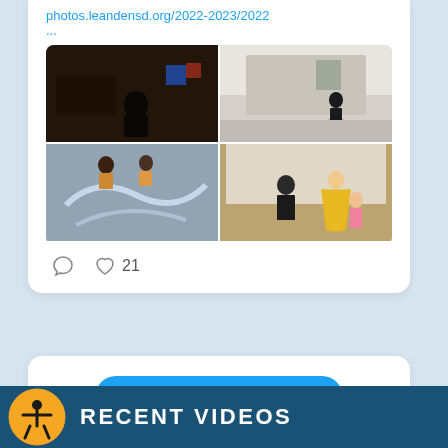photos.leandensd.org/2022-2023/2022
...
[Figure (photo): Four-photo grid showing school scenes: children in classroom, person walking outside, chalk art on ground, man sitting with child in yellow dress]
♡ 21
View more on Twitter
ⓘ Learn more about privacy on Twitter
RECENT VIDEOS